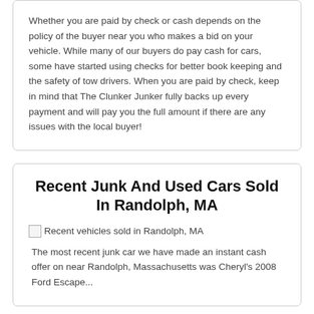Whether you are paid by check or cash depends on the policy of the buyer near you who makes a bid on your vehicle. While many of our buyers do pay cash for cars, some have started using checks for better book keeping and the safety of tow drivers. When you are paid by check, keep in mind that The Clunker Junker fully backs up every payment and will pay you the full amount if there are any issues with the local buyer!
Recent Junk And Used Cars Sold In Randolph, MA
[Figure (photo): Recent vehicles sold in Randolph, MA (broken image placeholder)]
The most recent junk car we have made an instant cash offer on near Randolph, Massachusetts was Cheryl's 2008 Ford Escape...